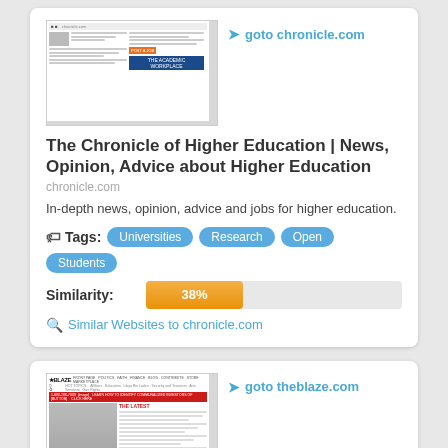[Figure (screenshot): Screenshot of chronicle.com website showing The Chronicle of Higher Education]
goto chronicle.com
The Chronicle of Higher Education | News, Opinion, Advice about Higher Education
chronicle.com
In-depth news, opinion, advice and jobs for higher education.
Tags: Universities Research Open Students
Similarity: 38%
Similar Websites to chronicle.com
[Figure (screenshot): Screenshot of theblaze.com website showing news articles including Mystery Priest from Car Wreck ID'd]
goto theblaze.com